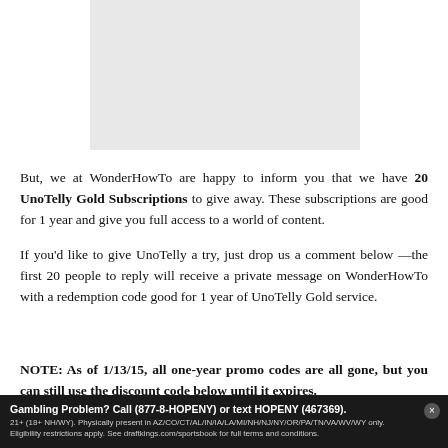[Figure (other): Gray placeholder image area]
But, we at WonderHowTo are happy to inform you that we have 20 UnoTelly Gold Subscriptions to give away. These subscriptions are good for 1 year and give you full access to a world of content.
If you'd like to give UnoTelly a try, just drop us a comment below—the first 20 people to reply will receive a private message on WonderHowTo with a redemption code good for 1 year of UnoTelly Gold service.
NOTE: As of 1/13/15, all one-year promo codes are all gone, but you can still use the discount code below until it expires.
Gambling Problem? Call (877-8-HOPENY) or text HOPENY (467369). 21+ (18+ NH/WY). Physically present in AZ/CO/CT/AL/IN/IA/LA/MI/NH/NJ/NY/OR/PA/TN/VA/WV/WY only. Eligibility restrictions apply. See draftkings.com/sportsbook for full terms and conditions.